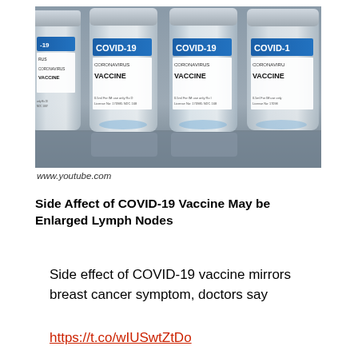[Figure (photo): Multiple COVID-19 Coronavirus Vaccine vials lined up. Labels show blue header with 'COVID-19', 'CORONAVIRUS VACCINE', '0.5ml For IM use only', 'License No: 170985', 'NDC 168...' text. Vials are glass with silver caps on gray surface.]
www.youtube.com
Side Affect of COVID-19 Vaccine May be Enlarged Lymph Nodes
Side effect of COVID-19 vaccine mirrors breast cancer symptom, doctors say
https://t.co/wIUSwtZtDo